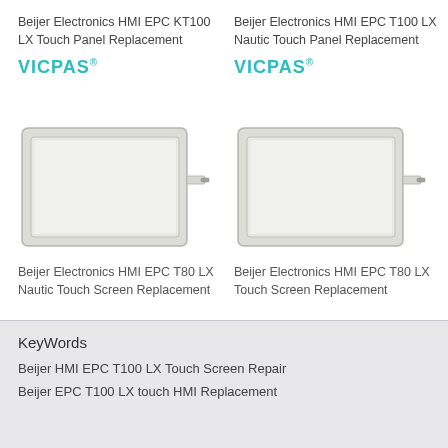Beijer Electronics HMI EPC KT100 LX Touch Panel Replacement
Beijer Electronics HMI EPC T100 LX Nautic Touch Panel Replacement
[Figure (photo): Touch panel component with ribbon cable connector, rectangular with bezel frame - left product]
[Figure (photo): Touch panel component with ribbon cable connector, rectangular with bezel frame - right product]
Beijer Electronics HMI EPC T80 LX Nautic Touch Screen Replacement
Beijer Electronics HMI EPC T80 LX Touch Screen Replacement
KeyWords
Beijer HMI EPC T100 LX Touch Screen Repair
Beijer EPC T100 LX touch HMI Replacement